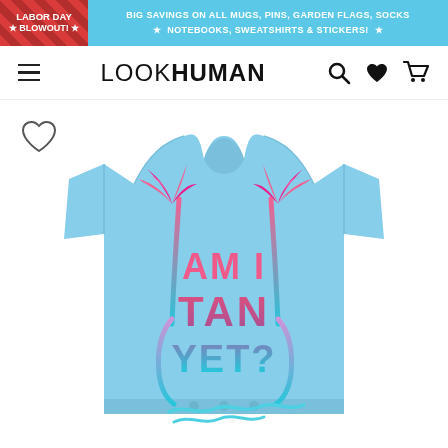LABOR DAY BLOWOUT! BIG SAVINGS ON ALL MUGS, PINS, GARDEN FLAGS, SOCKS ★ NOTEBOOKS, SWEATSHIRTS & STICKERS! ★
LOOKHUMAN
[Figure (photo): Blue baby onesie with palm tree design and text 'AM I TAN YET?' in pink-to-teal gradient]